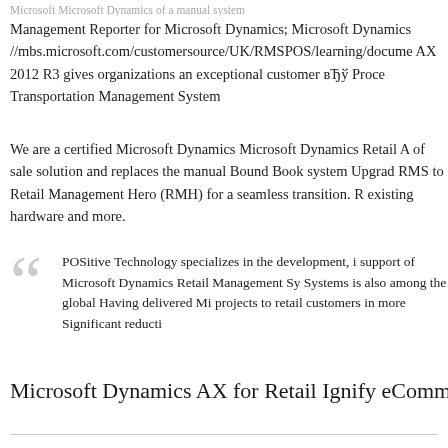Microsoft Microsoft Dynamics of a manual system
Management Reporter for Microsoft Dynamics; Microsoft Dynamics //mbs.microsoft.com/customersource/UK/RMSPOS/learning/docume AX 2012 R3 gives organizations an exceptional customer вЂў Proce Transportation Management System
We are a certified Microsoft Dynamics Microsoft Dynamics Retail A of sale solution and replaces the manual Bound Book system Upgrad RMS to Retail Management Hero (RMH) for a seamless transition. R existing hardware and more.
POSitive Technology specializes in the development, i support of Microsoft Dynamics Retail Management Sy Systems is also among the global Having delivered Mi projects to retail customers in more Significant reducti
Microsoft Dynamics AX for Retail Ignify eCommerce